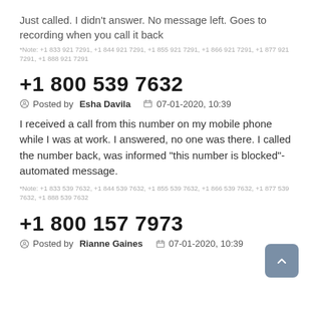Just called. I didn't answer. No message left. Goes to recording when you call it back
*Note: +1 833 921 7291, +1 844 921 7291, +1 855 921 7291, +1 866 921 7291, +1 877 921 7291, +1 888 921 7291
+1 800 539 7632
Posted by Esha Davila  07-01-2020, 10:39
I received a call from this number on my mobile phone while I was at work. I answered, no one was there. I called the number back, was informed "this number is blocked"- automated message.
*Note: +1 833 539 7632, +1 844 539 7632, +1 855 539 7632, +1 866 539 7632, +1 877 539 7632, +1 888 539 7632
+1 800 157 7973
Posted by Rianne Gaines  07-01-2020, 10:39